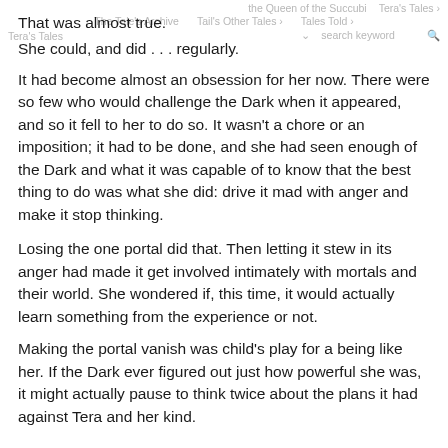That was almost true.
She could, and did . . . regularly.
It had become almost an obsession for her now. There were so few who would challenge the Dark when it appeared, and so it fell to her to do so. It wasn't a chore or an imposition; it had to be done, and she had seen enough of the Dark and what it was capable of to know that the best thing to do was what she did: drive it mad with anger and make it stop thinking.
Losing the one portal did that. Then letting it stew in its anger had made it get involved intimately with mortals and their world. She wondered if, this time, it would actually learn something from the experience or not.
Making the portal vanish was child's play for a being like her. If the Dark ever figured out just how powerful she was, it might actually pause to think twice about the plans it had against Tera and her kind.